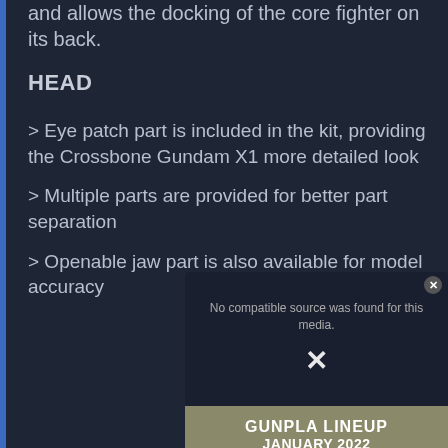and allows the docking of the core fighter on its back.
HEAD
> Eye patch part is included in the kit, providing the Crossbone Gundam X1 more detailed look
> Multiple parts are provided for better part separation
> Openable jaw part is also available for model accuracy
[Figure (screenshot): Video player overlay showing 'No compatible source was found for this media.' error message with an X button, and a banner at the bottom reading 'GUNPLA LINEUP JANUARY 2022']